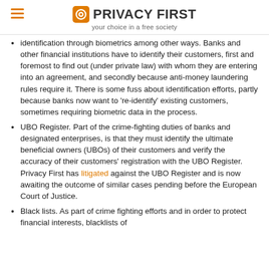PRIVACY FIRST — your choice in a free society
identification through biometrics among other ways. Banks and other financial institutions have to identify their customers, first and foremost to find out (under private law) with whom they are entering into an agreement, and secondly because anti-money laundering rules require it. There is some fuss about identification efforts, partly because banks now want to 're-identify' existing customers, sometimes requiring biometric data in the process.
UBO Register. Part of the crime-fighting duties of banks and designated enterprises, is that they must identify the ultimate beneficial owners (UBOs) of their customers and verify the accuracy of their customers' registration with the UBO Register. Privacy First has litigated against the UBO Register and is now awaiting the outcome of similar cases pending before the European Court of Justice.
Black lists. As part of crime fighting efforts and in order to protect financial interests, blacklists of